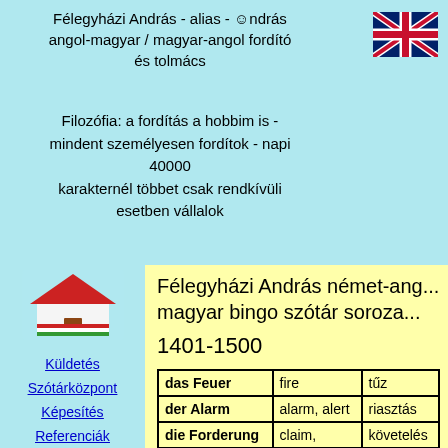Félegyházi András - alias - ☺ndrás angol-magyar / magyar-angol fordító és tolmács
Filozófia: a fordítás a hobbim is - mindent személyesen fordítok - napi 40000 karakternél többet csak rendkívüli esetben vállalok
[Figure (illustration): UK flag illustration in top right corner]
[Figure (illustration): Hungarian house icon with red roof and Hungarian flag colors]
Küldetés
Szótárközpont
Képesítés
Referenciák
Fordítási feltételek
Félegyházi András német-ang... magyar bingo szótár soroza...
1401-1500
| German | English | Hungarian |
| --- | --- | --- |
| das Feuer | fire | tűz |
| der Alarm | alarm, alert | riasztás |
| die Forderung | claim, | követelés |